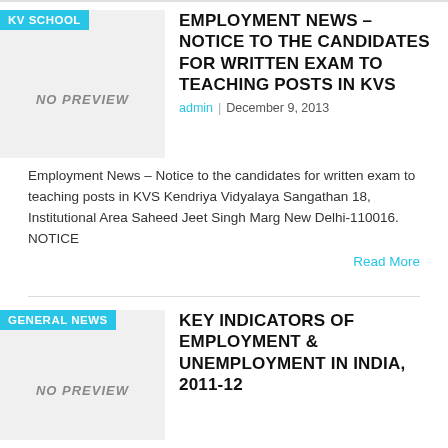KV SCHOOL
EMPLOYMENT NEWS – NOTICE TO THE CANDIDATES FOR WRITTEN EXAM TO TEACHING POSTS IN KVS
admin | December 9, 2013
Employment News – Notice to the candidates for written exam to teaching posts in KVS Kendriya Vidyalaya Sangathan 18, Institutional Area Saheed Jeet Singh Marg New Delhi-110016. NOTICE
Read More
GENERAL NEWS
KEY INDICATORS OF EMPLOYMENT & UNEMPLOYMENT IN INDIA, 2011-12